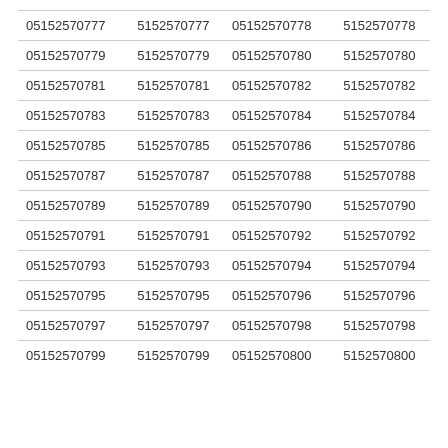| 05152570777 | 5152570777 | 05152570778 | 5152570778 |
| 05152570779 | 5152570779 | 05152570780 | 5152570780 |
| 05152570781 | 5152570781 | 05152570782 | 5152570782 |
| 05152570783 | 5152570783 | 05152570784 | 5152570784 |
| 05152570785 | 5152570785 | 05152570786 | 5152570786 |
| 05152570787 | 5152570787 | 05152570788 | 5152570788 |
| 05152570789 | 5152570789 | 05152570790 | 5152570790 |
| 05152570791 | 5152570791 | 05152570792 | 5152570792 |
| 05152570793 | 5152570793 | 05152570794 | 5152570794 |
| 05152570795 | 5152570795 | 05152570796 | 5152570796 |
| 05152570797 | 5152570797 | 05152570798 | 5152570798 |
| 05152570799 | 5152570799 | 05152570800 | 5152570800 |